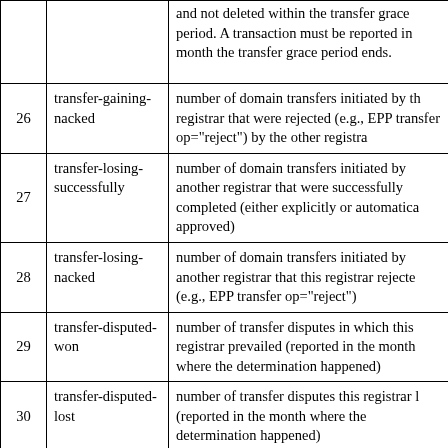| # | Name | Description |
| --- | --- | --- |
|  |  | and not deleted within the transfer grace period. A transaction must be reported in month the transfer grace period ends. |
| 26 | transfer-gaining-nacked | number of domain transfers initiated by the registrar that were rejected (e.g., EPP transfer op="reject") by the other registrar |
| 27 | transfer-losing-successfully | number of domain transfers initiated by another registrar that were successfully completed (either explicitly or automatically approved) |
| 28 | transfer-losing-nacked | number of domain transfers initiated by another registrar that this registrar rejected (e.g., EPP transfer op="reject") |
| 29 | transfer-disputed-won | number of transfer disputes in which this registrar prevailed (reported in the month where the determination happened) |
| 30 | transfer-disputed-lost | number of transfer disputes this registrar lost (reported in the month where the determination happened) |
| 31 | transfer-disputed-nodecision | number of transfer disputes involving this registrar with a split or no decision (reported in the month where the determination happened) |